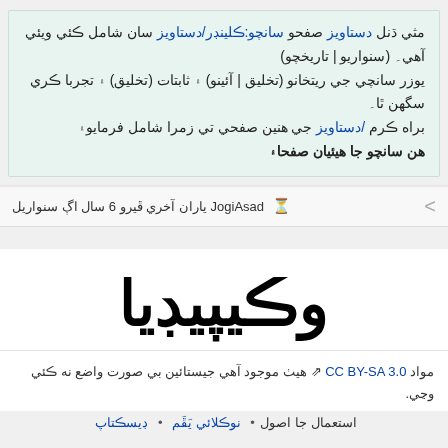مثي ڌنل دستاويز صفحو سانچو:ڪلينڊر/دستاويز سان شامل ڪئي ويئي آهي۔ (سنواريو | تاريخچو) يوزر سانچي جي ريتخانو (تخليق | آئينو) ۽ ثابتات (تخليق) ۽ تجربا ڪري سگهن ٿا۔ براه ڪرم /دستاويز جي هنين صفحي تي زمرا شامل فرمايو۽ هن سانچو جا هيئيان صفحا۽
JogiAsad ياران آخري ڦيرو 6 سال اڳ سنواريل
وڪيپيڊيا
مواد CC BY-SA 3.0 هيٺ موجود آهي جيستائين بي صورت واضع نه ڪئي وڃي.
استعمال جا اصول • نوڪلائي يَڦَم • ڊيسڪتاپ